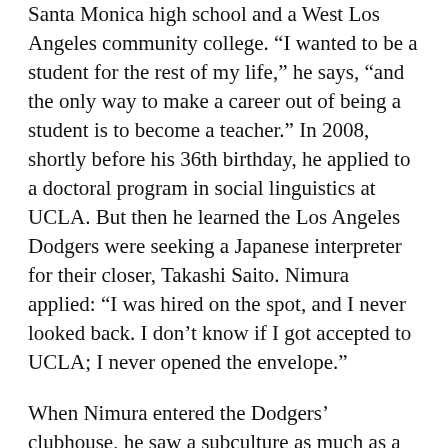Santa Monica high school and a West Los Angeles community college. “I wanted to be a student for the rest of my life,” he says, “and the only way to make a career out of being a student is to become a teacher.” In 2008, shortly before his 36th birthday, he applied to a doctoral program in social linguistics at UCLA. But then he learned the Los Angeles Dodgers were seeking a Japanese interpreter for their closer, Takashi Saito. Nimura applied: “I was hired on the spot, and I never looked back. I don’t know if I got accepted to UCLA; I never opened the envelope.”
When Nimura entered the Dodgers’ clubhouse, he saw a subculture as much as a baseball team. “I thought I could write an ethnography,” he says. Dodgers players spoke English, Spanish, Japanese, French, Taiwanese, Korean, and Papiamento, a language native to the Caribbean islands of Aruba, Bonaire, and Curaçao — and Nimura, the bicultural kid with a deep affinity for Hispanic life, found